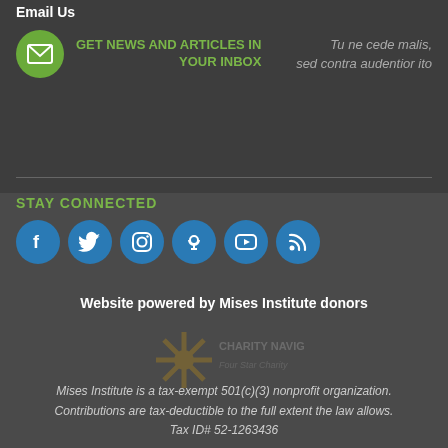Email Us
GET NEWS AND ARTICLES IN YOUR INBOX
Tu ne cede malis, sed contra audentior ito
STAY CONNECTED
[Figure (infographic): Six social media icon circles: Facebook, Twitter, Instagram, Podcast, YouTube, RSS]
Website powered by Mises Institute donors
[Figure (logo): Charity Navigator four-star charity watermark logo]
Mises Institute is a tax-exempt 501(c)(3) nonprofit organization. Contributions are tax-deductible to the full extent the law allows. Tax ID# 52-1263436